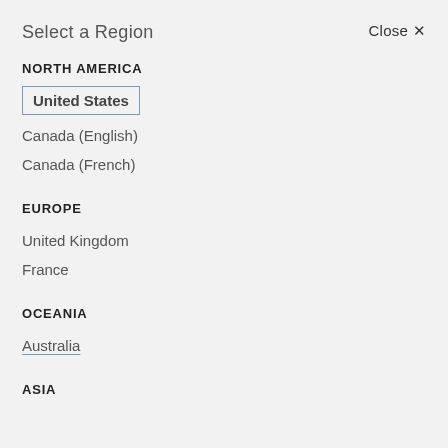Select a Region
Close ×
NORTH AMERICA
United States
Canada (English)
Canada (French)
EUROPE
United Kingdom
France
OCEANIA
Australia
ASIA